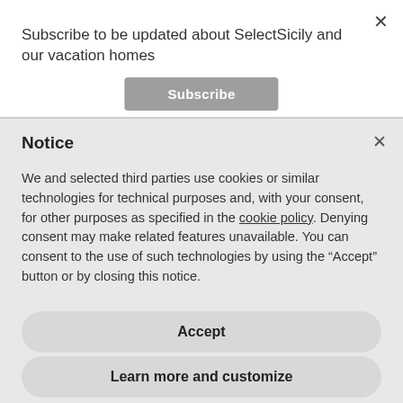Subscribe to be updated about SelectSicily and our vacation homes
Subscribe
Notice
We and selected third parties use cookies or similar technologies for technical purposes and, with your consent, for other purposes as specified in the cookie policy. Denying consent may make related features unavailable. You can consent to the use of such technologies by using the "Accept" button or by closing this notice.
Accept
Learn more and customize